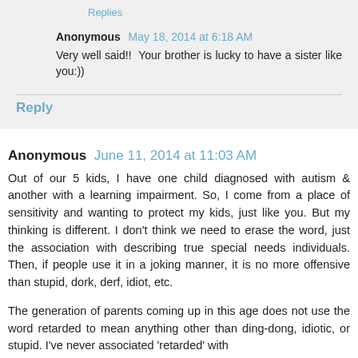Replies
Anonymous  May 18, 2014 at 6:18 AM
Very well said!!  Your brother is lucky to have a sister like you:))
Reply
Anonymous  June 11, 2014 at 11:03 AM
Out of our 5 kids, I have one child diagnosed with autism & another with a learning impairment. So, I come from a place of sensitivity and wanting to protect my kids, just like you. But my thinking is different. I don't think we need to erase the word, just the association with describing true special needs individuals. Then, if people use it in a joking manner, it is no more offensive than stupid, dork, derf, idiot, etc.
The generation of parents coming up in this age does not use the word retarded to mean anything other than ding-dong, idiotic, or stupid. I've never associated 'retarded' with